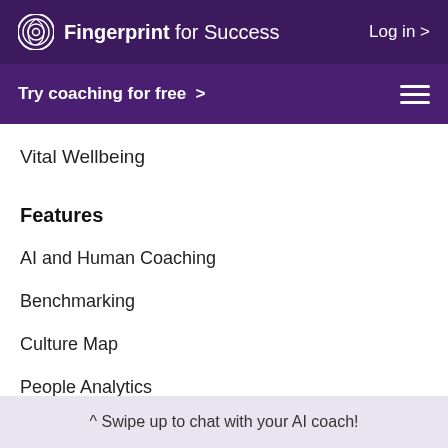Fingerprint for Success  Log in >
Try coaching for free >
Vital Wellbeing
Features
AI and Human Coaching
Benchmarking
Culture Map
People Analytics
^ Swipe up to chat with your AI coach!